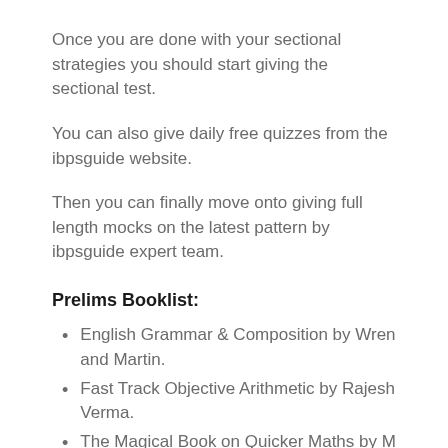Once you are done with your sectional strategies you should start giving the sectional test.
You can also give daily free quizzes from the ibpsguide website.
Then you can finally move onto giving full length mocks on the latest pattern by ibpsguide expert team.
Prelims Booklist:
English Grammar & Composition by Wren and Martin.
Fast Track Objective Arithmetic by Rajesh Verma.
The Magical Book on Quicker Maths by M Tyra
Verbal Reasoning by RS Agarwal
You can get the latest pattern ebooks for all the